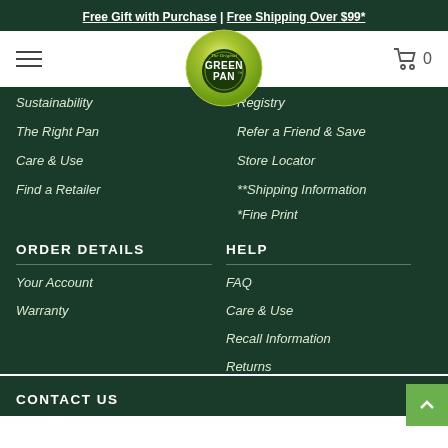Free Gift with Purchase | Free Shipping Over $99*
[Figure (logo): GreenPan logo — circular green gradient badge with 'The Original GREENPAN' text]
Sustainability
Registry
The Right Pan
Refer a Friend & Save
Care & Use
Store Locator
Find a Retailer
**Shipping Information
*Fine Print
ORDER DETAILS
HELP
Your Account
FAQ
Warranty
Care & Use
Recall Information
Returns
CONTACT US